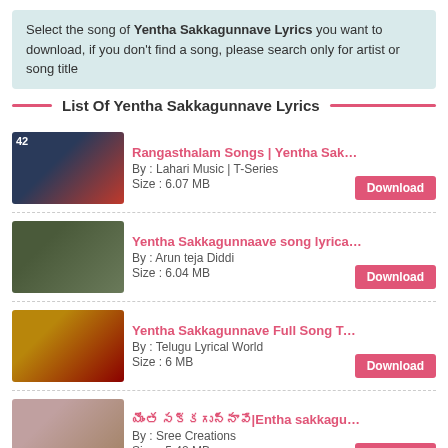Select the song of Yentha Sakkagunnave Lyrics you want to download, if you don't find a song, please search only for artist or song title
List Of Yentha Sakkagunnave Lyrics
Rangasthalam Songs | Yentha Sakkagunnaave Lyrical V | By : Lahari Music | T-Series | Size : 6.07 MB
Yentha Sakkagunnaave song lyrical video with english t | By : Arun teja Diddi | Size : 6.04 MB
Yentha Sakkagunnave Full Song Telugu Lyrics | Rangast | By : Telugu Lyrical World | Size : 6 MB
యెంత సక్కగున్నావే|Entha sakkagunnave telugu lyrics song n | By : Sree Creations | Size : 5.42 MB
Yentha Sakkagunnaave Lyrical Video Song - Rangasthal | By : T-Series Telugu